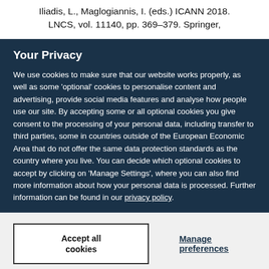Iliadis, L., Maglogiannis, I. (eds.) ICANN 2018. LNCS, vol. 11140, pp. 369–379. Springer,
Your Privacy
We use cookies to make sure that our website works properly, as well as some 'optional' cookies to personalise content and advertising, provide social media features and analyse how people use our site. By accepting some or all optional cookies you give consent to the processing of your personal data, including transfer to third parties, some in countries outside of the European Economic Area that do not offer the same data protection standards as the country where you live. You can decide which optional cookies to accept by clicking on 'Manage Settings', where you can also find more information about how your personal data is processed. Further information can be found in our privacy policy.
Accept all cookies
Manage preferences